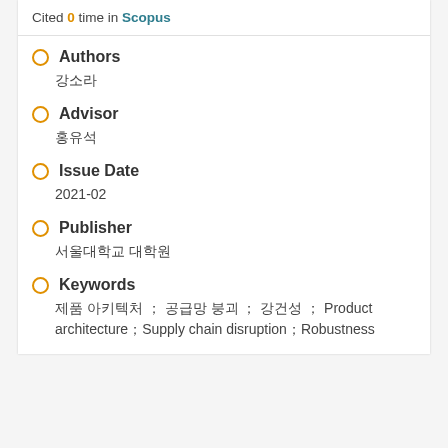Cited 0 time in Scopus
Authors
강소라
Advisor
홍유석
Issue Date
2021-02
Publisher
서울대학교 대학원
Keywords
제품 아키텍처 ； 공급망 붕괴 ； 강건성 ； Product architecture；Supply chain disruption；Robustness